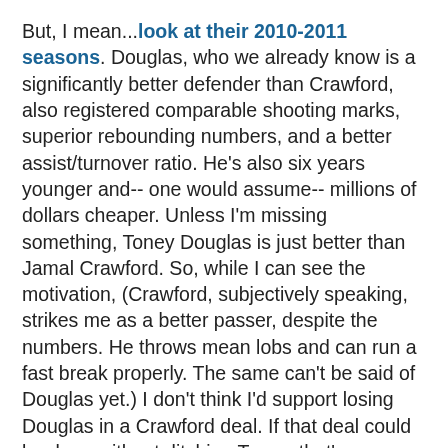But, I mean...look at their 2010-2011 seasons. Douglas, who we already know is a significantly better defender than Crawford, also registered comparable shooting marks, superior rebounding numbers, and a better assist/turnover ratio. He's also six years younger and-- one would assume-- millions of dollars cheaper. Unless I'm missing something, Toney Douglas is just better than Jamal Crawford. So, while I can see the motivation, (Crawford, subjectively speaking, strikes me as a better passer, despite the numbers. He throws mean lobs and can run a fast break properly. The same can't be said of Douglas yet.) I don't think I'd support losing Douglas in a Crawford deal. If that deal could be done without ditching Toney, that's a different story. Perhaps the inclusion of a third team (which has been mentioned) could obviate the need to include Toney, but I really don't have all the information to know...